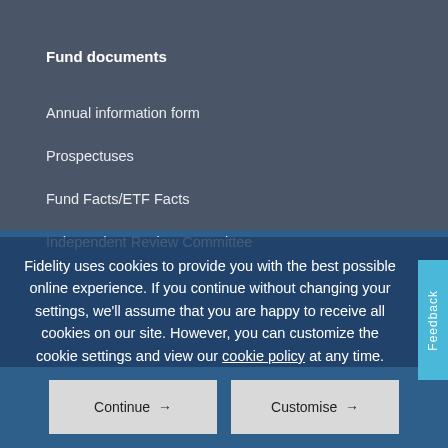Fund documents
Annual information form
Prospectuses
Fund Facts/ETF Facts
Independent Review Committee
Fidelity uses cookies to provide you with the best possible online experience. If you continue without changing your settings, we'll assume that you are happy to receive all cookies on our site. However, you can customize the cookie settings and view our cookie policy at any time.
Continue →
Customise →